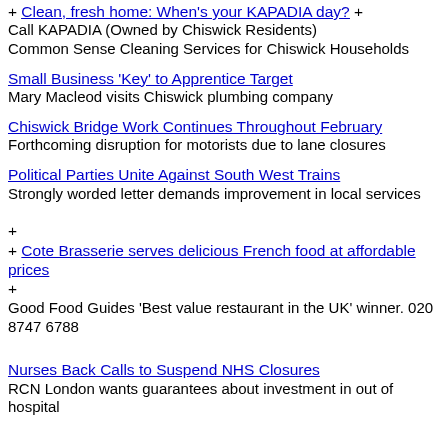+ Clean, fresh home: When's your KAPADIA day? + Call KAPADIA (Owned by Chiswick Residents) Common Sense Cleaning Services for Chiswick Households
Small Business 'Key' to Apprentice Target
Mary Macleod visits Chiswick plumbing company
Chiswick Bridge Work Continues Throughout February
Forthcoming disruption for motorists due to lane closures
Political Parties Unite Against South West Trains
Strongly worded letter demands improvement in local services
+ Cote Brasserie serves delicious French food at affordable prices
+
Good Food Guides 'Best value restaurant in the UK' winner. 020 8747 6788
Nurses Back Calls to Suspend NHS Closures
RCN London wants guarantees about investment in out of hospital